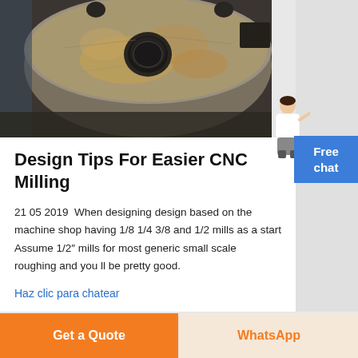[Figure (photo): Close-up photo of a large circular metal CNC-machined part (disc/cylinder) with a central hole, surface wear and rust-like staining, and a rectangular notch on the right side. The part sits in an industrial machine shop setting.]
Design Tips For Easier CNC Milling
21 05 2019  When designing design based on the machine shop having 1/8 1/4 3/8 and 1/2 mills as a start Assume 1/2″ mills for most generic small scale roughing and you ll be pretty good.
Haz clic para chatear
Get a Quote
WhatsApp